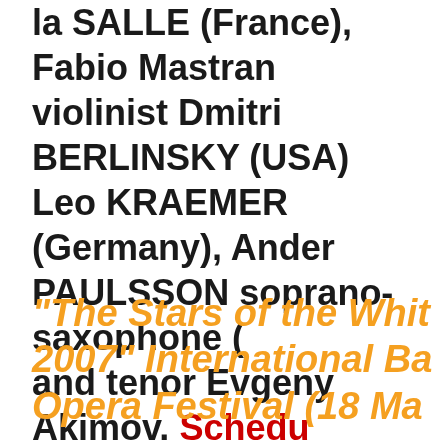la SALLE (France), Fabio Mastran violinist Dmitri BERLINSKY (USA) Leo KRAEMER (Germany), Ander PAULSSON soprano-saxophone ( and tenor Evgeny Akimov. Schedule 2007 - 10 July 2007 (ARCHIVE)
"The Stars of the Whit 2007" International Ba Opera Festival (18 Ma